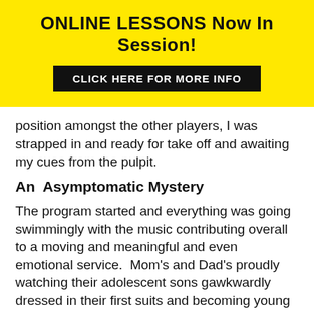ONLINE LESSONS Now In Session!
CLICK HERE FOR MORE INFO
position amongst the other players, I was strapped in and ready for take off and awaiting my cues from the pulpit.
An  Asymptomatic Mystery
The program started and everything was going swimmingly with the music contributing overall to a moving and meaningful and even emotional service.  Mom's and Dad's proudly watching their adolescent sons gawkwardly dressed in their first suits and becoming young men right before their eyes, siblings and babies at parents sides giggling and jostling and burbling.  The Pastor resplendant in white and gold robe speaking of dedication of life to God and family while we, the musical group played in all the